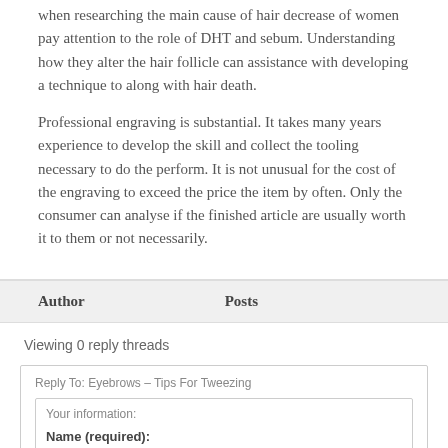when researching the main cause of hair decrease of women pay attention to the role of DHT and sebum. Understanding how they alter the hair follicle can assistance with developing a technique to along with hair death.
Professional engraving is substantial. It takes many years experience to develop the skill and collect the tooling necessary to do the perform. It is not unusual for the cost of the engraving to exceed the price the item by often. Only the consumer can analyse if the finished article are usually worth it to them or not necessarily.
| Author | Posts |
| --- | --- |
Viewing 0 reply threads
Reply To: Eyebrows – Tips For Tweezing
Your information:
Name (required):
Mail (will not be published) (required):